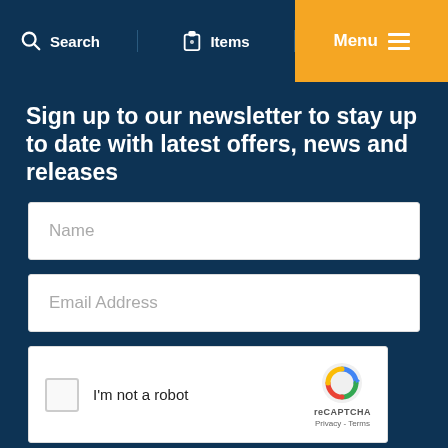Search  Items  Menu
Sign up to our newsletter to stay up to date with latest offers, news and releases
Name
Email Address
[Figure (other): reCAPTCHA widget with checkbox labeled I'm not a robot, reCAPTCHA logo, Privacy and Terms links]
Sign Up